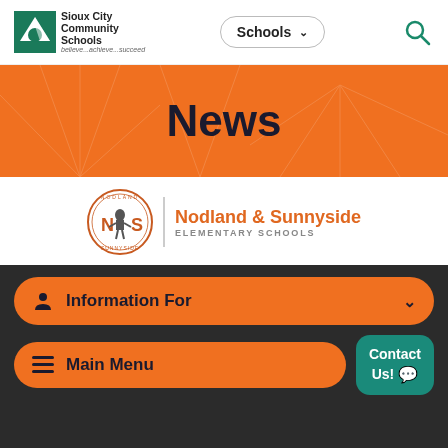[Figure (logo): Sioux City Community Schools logo with green diamond checkmark and text 'believe...achieve...succeed']
Schools ∨
[Figure (logo): Search magnifying glass icon]
News
[Figure (logo): Nodland & Sunnyside Elementary Schools logo with circular badge showing 'N S' and a warrior mascot]
Nodland & Sunnyside ELEMENTARY SCHOOLS
Information For
Main Menu
Contact Us!